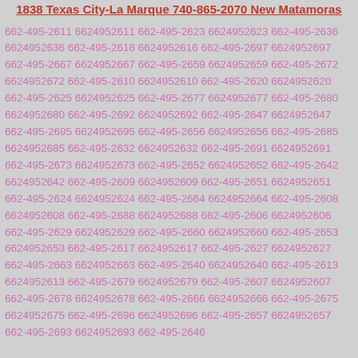1838 Texas City-La Marque 740-865-2070 New Matamoras
662-495-2611 6624952611 662-495-2623 6624952623 662-495-2636 6624952636 662-495-2616 6624952616 662-495-2697 6624952697 662-495-2667 6624952667 662-495-2659 6624952659 662-495-2672 6624952672 662-495-2610 6624952610 662-495-2620 6624952620 662-495-2625 6624952625 662-495-2677 6624952677 662-495-2680 6624952680 662-495-2692 6624952692 662-495-2647 6624952647 662-495-2695 6624952695 662-495-2656 6624952656 662-495-2685 6624952685 662-495-2632 6624952632 662-495-2691 6624952691 662-495-2673 6624952673 662-495-2652 6624952652 662-495-2642 6624952642 662-495-2609 6624952609 662-495-2651 6624952651 662-495-2624 6624952624 662-495-2664 6624952664 662-495-2608 6624952608 662-495-2688 6624952688 662-495-2606 6624952606 662-495-2629 6624952629 662-495-2660 6624952660 662-495-2653 6624952653 662-495-2617 6624952617 662-495-2627 6624952627 662-495-2663 6624952663 662-495-2640 6624952640 662-495-2613 6624952613 662-495-2679 6624952679 662-495-2607 6624952607 662-495-2678 6624952678 662-495-2666 6624952666 662-495-2675 6624952675 662-495-2696 6624952696 662-495-2657 6624952657 662-495-2693 6624952693 662-495-2646